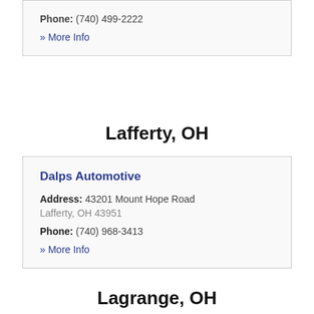Phone: (740) 499-2222
» More Info
Lafferty, OH
Dalps Automotive
Address: 43201 Mount Hope Road Lafferty, OH 43951
Phone: (740) 968-3413
» More Info
Lagrange, OH